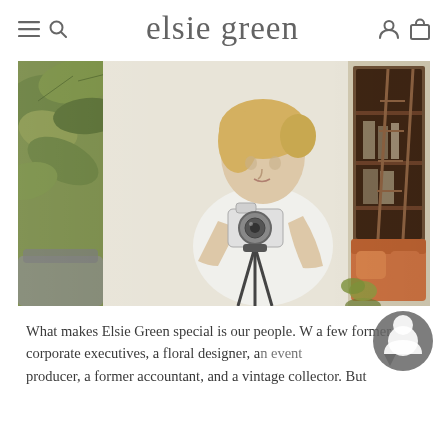elsie green
[Figure (photo): A blonde woman in a white top adjusting a camera on a tripod in a bright studio space. On the left is a plant with green leaves. On the right side of the image is a room interior with dark shelving, a ladder, and orange furniture.]
What makes Elsie Green special is our people. We are a few former corporate executives, a floral designer, an event producer, a former accountant, and a vintage collector. But